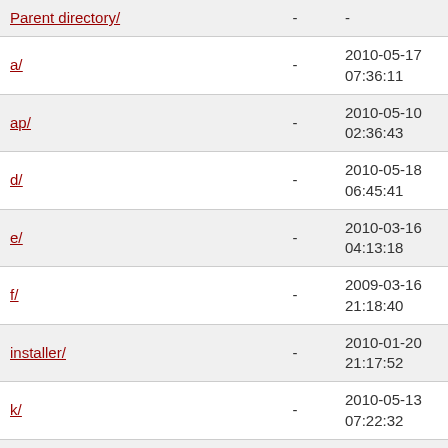| Name | Size | Date |
| --- | --- | --- |
| Parent directory/ | - | - |
| a/ | - | 2010-05-17 07:36:11 |
| ap/ | - | 2010-05-10 02:36:43 |
| d/ | - | 2010-05-18 06:45:41 |
| e/ | - | 2010-03-16 04:13:18 |
| f/ | - | 2009-03-16 21:18:40 |
| installer/ | - | 2010-01-20 21:17:52 |
| k/ | - | 2010-05-13 07:22:32 |
| kde/ | - | 2010-05-06 07:09:45 |
| kdei/ | - | 2010-05-06 07:11:25 |
| l/ | - | 2010-05-14 03:55:58 |
| n/ | - | 2010-05-17 |